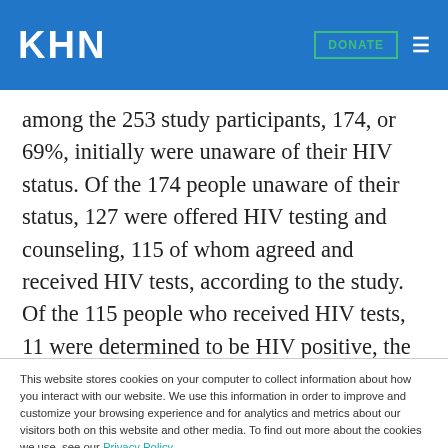KHN  DONATE
among the 253 study participants, 174, or 69%, initially were unaware of their HIV status. Of the 174 people unaware of their status, 127 were offered HIV testing and counseling, 115 of whom agreed and received HIV tests, according to the study. Of the 115 people who received HIV tests, 11 were determined to be HIV positive, the study says. Of the 194 participants whose HIV status was known, 68, or
This website stores cookies on your computer to collect information about how you interact with our website. We use this information in order to improve and customize your browsing experience and for analytics and metrics about our visitors both on this website and other media. To find out more about the cookies we use, see our Privacy Policy.
Accept